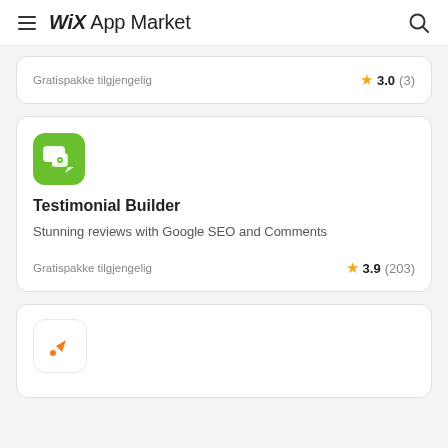Wix App Market
Gratispakke tilgjengelig   ★ 3.0 (3)
[Figure (screenshot): Testimonial Builder app card with green icon showing speech bubbles with heart]
Testimonial Builder
Stunning reviews with Google SEO and Comments
Gratispakke tilgjengelig   ★ 3.9 (203)
[Figure (screenshot): Partial app card with orange Topbar app icon]